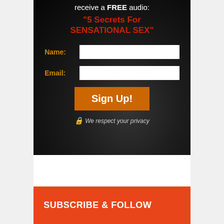receive a FREE audio:
"5 Secrets For SENSATIONAL SEX"
Name:
Email:
Sign Up!
We respect your privacy
SUBSCRIBE & FOLLOW